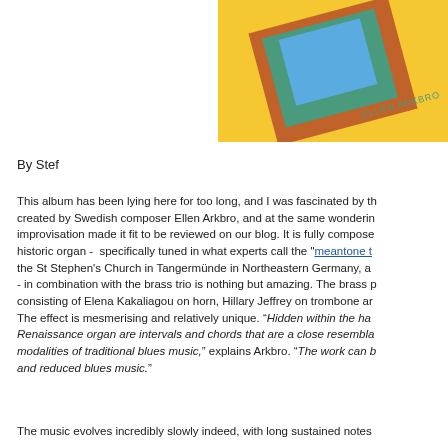[Figure (illustration): Album cover art for Ellen Arkbro: yellow background with overlapping colored rectangles (brown/rust, teal/green, blue) arranged diagonally, with 'ELLEN ARKBRO' text in teal letters at the bottom right area of the geometric design.]
By Stef
This album has been lying here for too long, and I was fascinated by the music created by Swedish composer Ellen Arkbro, and at the same wondering how improvisation made it fit to be reviewed on our blog. It is fully composed for a historic organ - specifically tuned in what experts call the "meantone t" the St Stephen's Church in Tangermünde in Northeastern Germany, a - in combination with the brass trio is nothing but amazing. The brass p consisting of Elena Kakaliagou on horn, Hillary Jeffrey on trombone ar The effect is mesmerising and relatively unique. “Hidden within the ha Renaissance organ are intervals and chords that are a close resembla modalities of traditional blues music,” explains Arkbro. “The work can b and reduced blues music.”
The music evolves incredibly slowly indeed, with long sustained notes